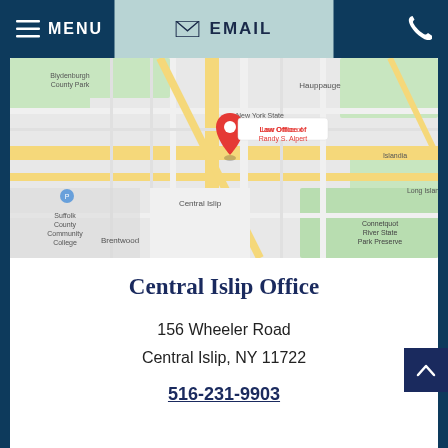MENU | EMAIL | (phone icon)
[Figure (map): Google Maps screenshot showing the location of Law Office of Randy S. Alpert in Central Islip, NY, with surrounding areas including Hauppauge, Suffolk County Community College, Brentwood, and Connetquot River State Park Preserve. A red map pin marks the office location.]
Central Islip Office
156 Wheeler Road
Central Islip, NY 11722
516-231-9903